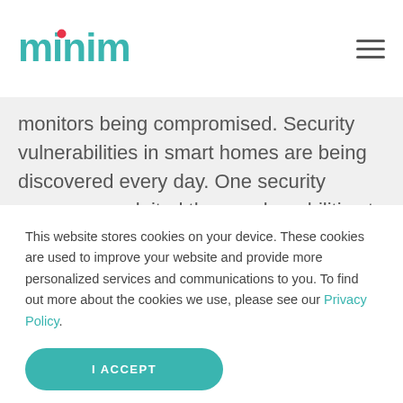minim
monitors being compromised. Security vulnerabilities in smart homes are being discovered every day. One security company exploited these vulnerabilities to
This website stores cookies on your device. These cookies are used to improve your website and provide more personalized services and communications to you. To find out more about the cookies we use, please see our Privacy Policy.
I ACCEPT
I DECLINE